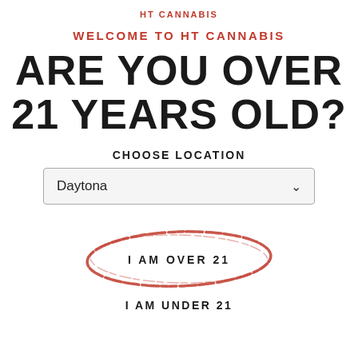HT CANNABIS
WELCOME TO HT CANNABIS
ARE YOU OVER 21 YEARS OLD?
CHOOSE LOCATION
[Figure (screenshot): Dropdown selector showing 'Daytona' with a chevron arrow]
[Figure (illustration): Red hand-drawn oval/circle around the text 'I AM OVER 21']
I AM UNDER 21